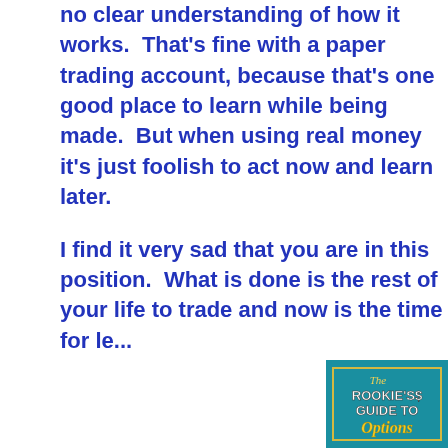no clear understanding of how it works.  That's fine with a paper trading account, because that's one good place to learn while being made.  But when using real money it's just foolish to act now and learn later.
I find it very sad that you are in this position.  What is done is done.  You have the rest of your life to trade and now is the time for le...
[Figure (illustration): Book cover for 'The Rookie's Guide to Options' with teal background, yellow border, white bold text for ROOKIE'S GUIDE TO and gold italic script for 'Options']